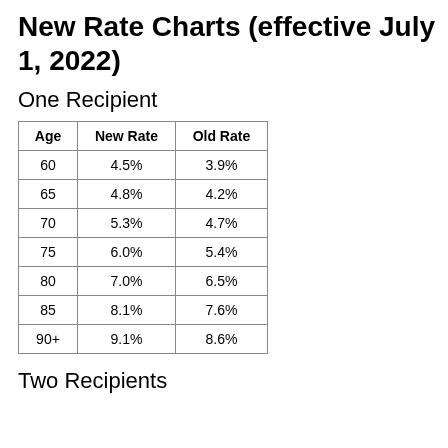New Rate Charts (effective July 1, 2022)
One Recipient
| Age | New Rate | Old Rate |
| --- | --- | --- |
| 60 | 4.5% | 3.9% |
| 65 | 4.8% | 4.2% |
| 70 | 5.3% | 4.7% |
| 75 | 6.0% | 5.4% |
| 80 | 7.0% | 6.5% |
| 85 | 8.1% | 7.6% |
| 90+ | 9.1% | 8.6% |
Two Recipients